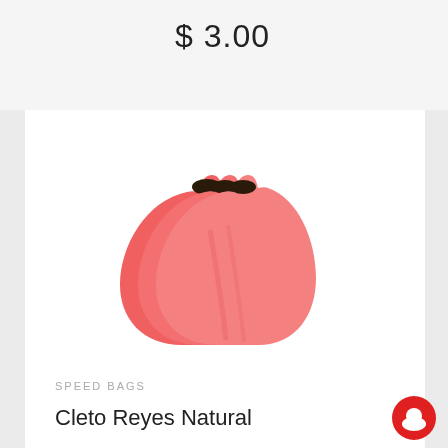$ 3.00
[Figure (photo): Three red/coral-colored speed bag bladders (teardrop shaped, stacked slightly overlapping) shown on white background]
SPEED BAGS
Cleto Reyes Natural